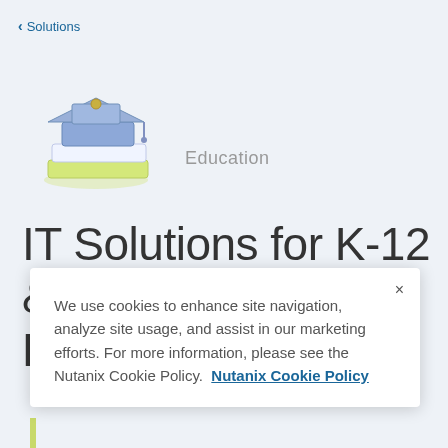< Solutions
[Figure (illustration): Graduation cap and books stacked illustration in blue and yellow-green colors]
Education
IT Solutions for K-12 & Higher Education
We use cookies to enhance site navigation, analyze site usage, and assist in our marketing efforts. For more information, please see the Nutanix Cookie Policy.  Nutanix Cookie Policy